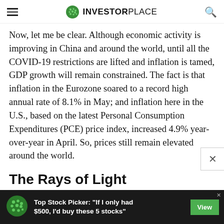INVESTORPLACE
Now, let me be clear. Although economic activity is improving in China and around the world, until all the COVID-19 restrictions are lifted and inflation is tamed, GDP growth will remain constrained. The fact is that inflation in the Eurozone soared to a record high annual rate of 8.1% in May; and inflation here in the U.S., based on the latest Personal Consumption Expenditures (PCE) price index, increased 4.9% year-over-year in April. So, prices still remain elevated around the world.
The Rays of Light
[Figure (other): Advertisement banner: Top Stock Picker: 'If I only had $500, I'd buy these 5 stocks' with View button]